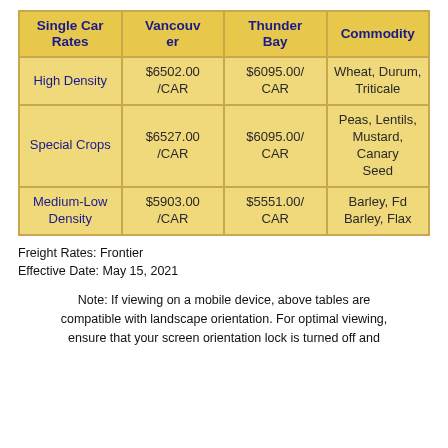| Single Car Rates | Vancouver | Thunder Bay | Commodity |
| --- | --- | --- | --- |
| High Density | $6502.00/CAR | $6095.00/CAR | Wheat, Durum, Triticale |
| Special Crops | $6527.00/CAR | $6095.00/CAR | Peas, Lentils, Mustard, Canary Seed |
| Medium-Low Density | $5903.00/CAR | $5551.00/CAR | Barley, Fd Barley, Flax |
Freight Rates: Frontier
Effective Date: May 15, 2021
Note: If viewing on a mobile device, above tables are compatible with landscape orientation. For optimal viewing, ensure that your screen orientation lock is turned off and